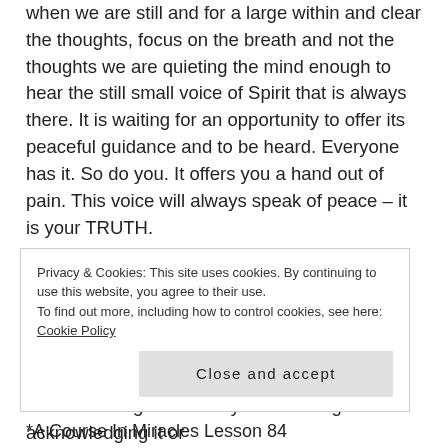when we are still and for a large within and clear the thoughts, focus on the breath and not the thoughts we are quieting the mind enough to hear the still small voice of Spirit that is always there. It is waiting for an opportunity to offer its peaceful guidance and to be heard. Everyone has it. So do you. It offers you a hand out of pain. This voice will always speak of peace – it is your TRUTH.
Its guidance will be a quiet little peaceful thought (careful, you might miss it) and it may not come right away. It cannot come when the ego is screaming. When you still all the ego chatter and it will it be there. You quiet and subdue the ego chatter by not heeding it or acknowledging it or
Privacy & Cookies: This site uses cookies. By continuing to use this website, you agree to their use. To find out more, including how to control cookies, see here: Cookie Policy
Close and accept
*A Course In Miracles Lesson 84